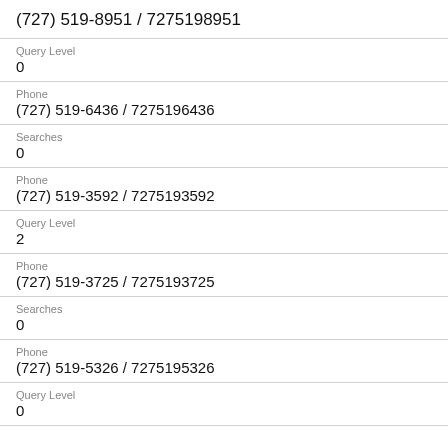(727) 519-8951 / 7275198951
Query Level
0
Phone
(727) 519-6436 / 7275196436
Searches
0
Phone
(727) 519-3592 / 7275193592
Query Level
2
Phone
(727) 519-3725 / 7275193725
Searches
0
Phone
(727) 519-5326 / 7275195326
Query Level
0